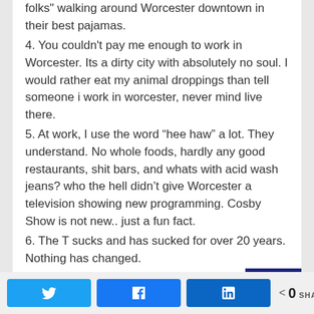in their best pajamas.
4. You couldn't pay me enough to work in Worcester. Its a dirty city with absolutely no soul. I would rather eat my animal droppings than tell someone i work in worcester, never mind live there.
5. At work, I use the word “hee haw” a lot. They understand. No whole foods, hardly any good restaurants, shit bars, and whats with acid wash jeans? who the hell didn’t give Worcester a television showing new programming. Cosby Show is not new.. just a fun fact.
6. The T sucks and has sucked for over 20 years. Nothing has changed.
7. I’m moving back. Rather sit in local traffic